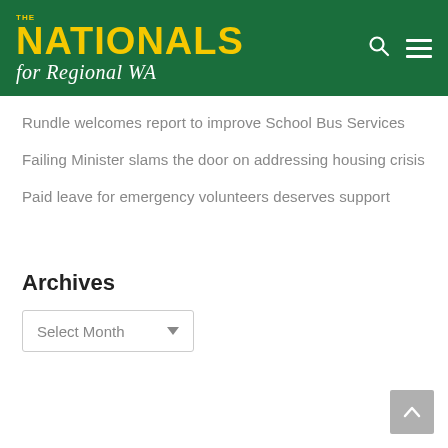[Figure (logo): The Nationals for Regional WA logo — yellow bold text on dark green background with 'for Regional WA' in white italic script]
Rundle welcomes report to improve School Bus Services
Failing Minister slams the door on addressing housing crisis
Paid leave for emergency volunteers deserves support
Archives
Select Month